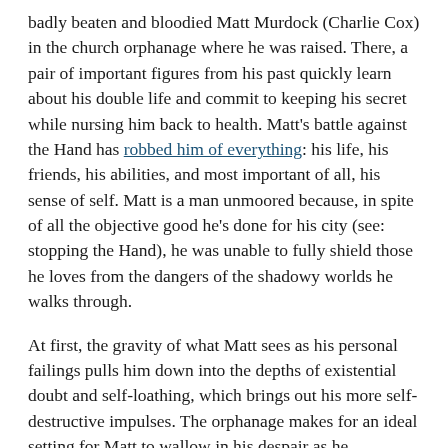badly beaten and bloodied Matt Murdock (Charlie Cox) in the church orphanage where he was raised. There, a pair of important figures from his past quickly learn about his double life and commit to keeping his secret while nursing him back to health. Matt's battle against the Hand has robbed him of everything: his life, his friends, his abilities, and most important of all, his sense of self. Matt is a man unmoored because, in spite of all the objective good he's done for his city (see: stopping the Hand), he was unable to fully shield those he loves from the dangers of the shadowy worlds he walks through.
At first, the gravity of what Matt sees as his personal failings pulls him down into the depths of existential doubt and self-loathing, which brings out his more self-destructive impulses. The orphanage makes for an ideal setting for Matt to wallow in his despair as he emotionally flagellates himself. He's resigned to the idea that his inner turmoil is a well-deserved punishment from a God he no longer has the